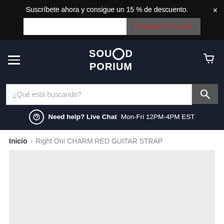Suscríbete ahora y consigue un 15 % de descuento.
[Figure (screenshot): Email input field and 'Conseguir mi cupón.' button on dark banner]
[Figure (logo): SOUNDPORIUM logo in white on dark navy background]
¿Qué está buscando?
Need help? Live Chat Mon-Fri 12PM-4PM EST
Inicio > Right On! CHARM RED GUITAR STRAP
[Figure (photo): Light grey product image placeholder area]